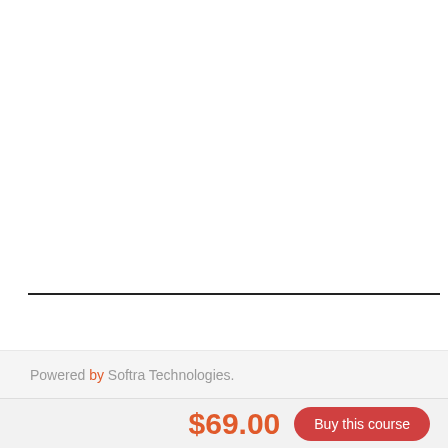Powered by Softra Technologies.
$69.00
Buy this course